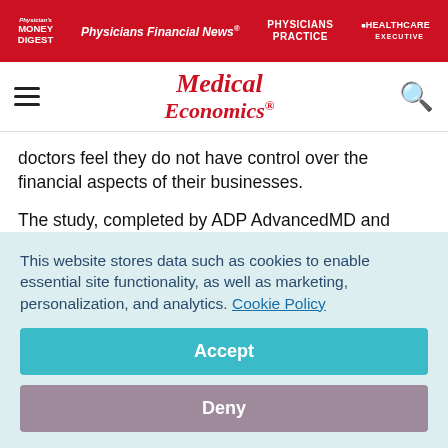Physician's Money Digest | Physicians Financial News | Physicians Practice | Healthcare Executive
Medical Economics
doctors feel they do not have control over the financial aspects of their businesses.
The study, completed by ADP AdvancedMD and Sermo, surveyed 300 physicians in family medicine, internal medicine, obstetrics/gynecology and pediatrics specialties. The results
This website stores data such as cookies to enable essential site functionality, as well as marketing, personalization, and analytics. Cookie Policy
Accept
Deny